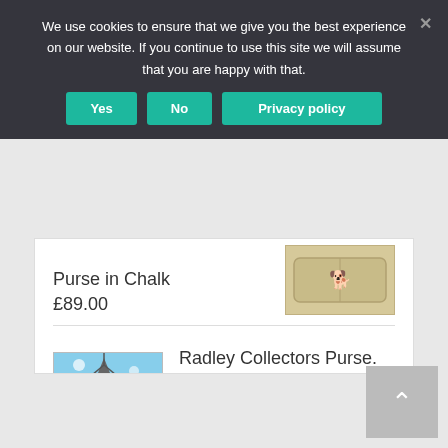We use cookies to ensure that we give you the best experience on our website. If you continue to use this site we will assume that you are happy with that.
Yes
No
Privacy policy
Purse in Chalk
£89.00
[Figure (photo): Beige/chalk colored Radley purse with a small dog logo]
Radley Collectors Purse. The Observatory.
£99.00
[Figure (photo): Radley Collectors Purse with an observatory/windmill scene on a blue sky background]